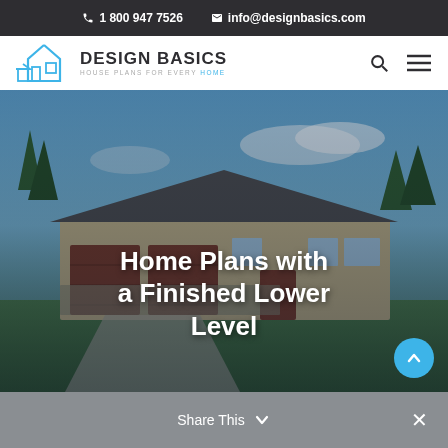1 800 947 7526  info@designbasics.com
[Figure (logo): Design Basics logo with house icon — DESIGN BASICS / HOUSE PLANS FOR EVERY HOME]
[Figure (photo): Hero image of a craftsman-style ranch home with blue sky background, overlaid with title text 'Home Plans with a Finished Lower Level']
Home Plans with a Finished Lower Level
Share This